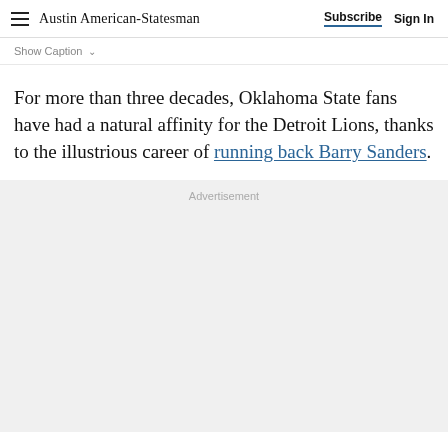Austin American-Statesman | Subscribe | Sign In
Show Caption
For more than three decades, Oklahoma State fans have had a natural affinity for the Detroit Lions, thanks to the illustrious career of running back Barry Sanders.
Advertisement